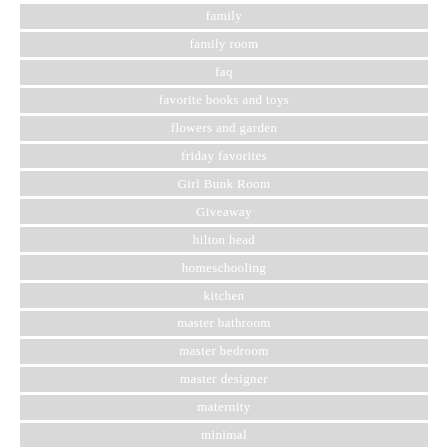family
family room
faq
favorite books and toys
flowers and garden
friday favorites
Girl Bunk Room
Giveaway
hilton head
homeschooling
kitchen
master bathroom
master bedroom
master designer
maternity
minimal